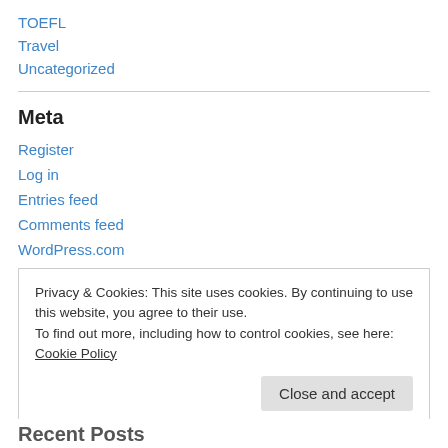TOEFL
Travel
Uncategorized
Meta
Register
Log in
Entries feed
Comments feed
WordPress.com
Privacy & Cookies: This site uses cookies. By continuing to use this website, you agree to their use.
To find out more, including how to control cookies, see here: Cookie Policy
Close and accept
Recent Posts